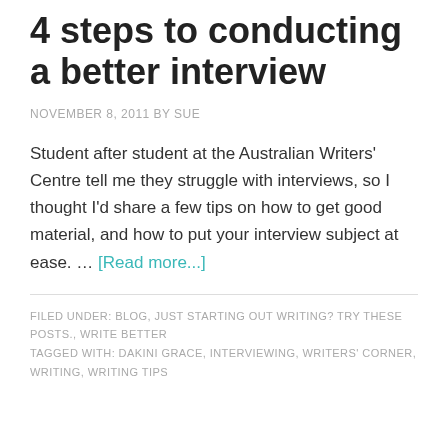4 steps to conducting a better interview
NOVEMBER 8, 2011 BY SUE
Student after student at the Australian Writers' Centre tell me they struggle with interviews, so I thought I'd share a few tips on how to get good material, and how to put your interview subject at ease. … [Read more...]
FILED UNDER: BLOG, JUST STARTING OUT WRITING? TRY THESE POSTS., WRITE BETTER
TAGGED WITH: DAKINI GRACE, INTERVIEWING, WRITERS' CORNER, WRITING, WRITING TIPS